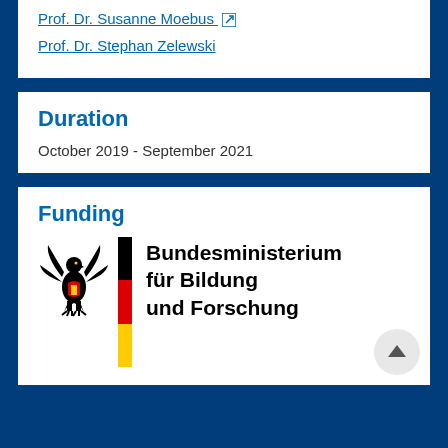Prof. Dr. Susanne Moebus [external link]
Prof. Dr. Stephan Zelewski
Duration
October 2019 - September 2021
Funding
[Figure (logo): Bundesministerium für Bildung und Forschung logo with German eagle and German flag stripe beside text reading 'Bundesministerium für Bildung und Forschung']